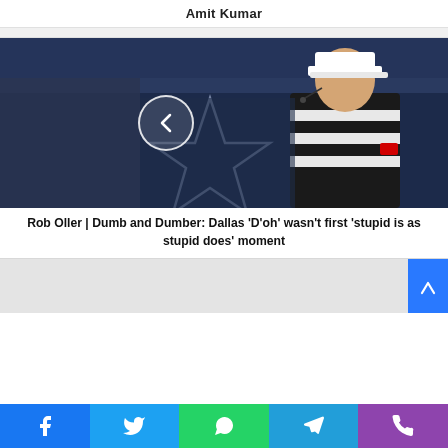Amit Kumar
[Figure (photo): NFL referee in black and white striped uniform with white cap and headset microphone, standing in front of Dallas Cowboys star logo background, with a circular back-navigation arrow button overlay]
Rob Oller | Dumb and Dumber: Dallas 'D'oh' wasn't first 'stupid is as stupid does' moment
[Figure (photo): Partially visible second article card with light gray background]
Social share buttons: Facebook, Twitter, WhatsApp, Telegram, Phone